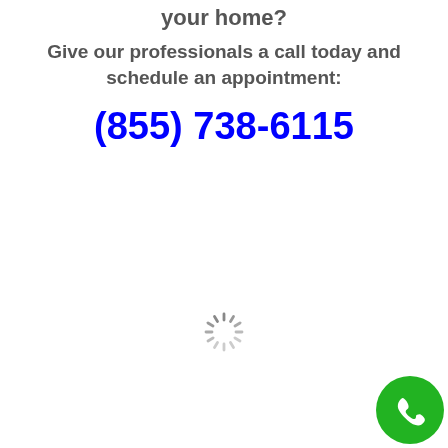your home?
Give our professionals a call today and schedule an appointment:
(855) 738-6115
[Figure (illustration): Loading spinner icon (circular dashes/rays in gray)]
[Figure (illustration): Green circular phone call button with white phone handset icon, bottom-right corner]